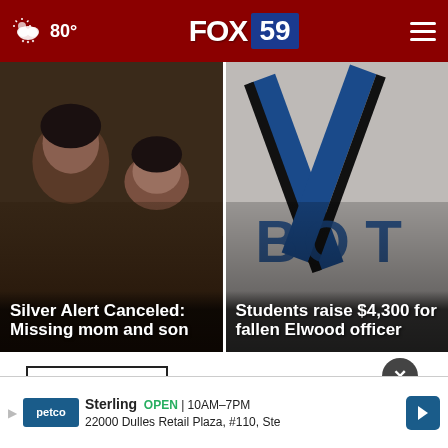FOX 59 | 80° | Weather: partly cloudy
[Figure (photo): News card: two people, a woman and a sleeping baby, with overlay text 'Silver Alert Canceled: Missing mom and son']
[Figure (photo): News card: close-up of a blue and black ribbon on a grey shirt with 'Students raise $4,300 for fallen Elwood officer' overlay]
Top Stories ›
[Figure (photo): Partial bottom image showing a person]
Sterling OPEN | 10AM–7PM
22000 Dulles Retail Plaza, #110, Ste